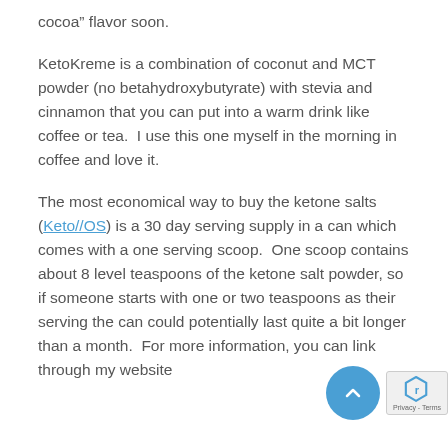cocoa” flavor soon.
KetoKreme is a combination of coconut and MCT powder (no betahydroxybutyrate) with stevia and cinnamon that you can put into a warm drink like coffee or tea.  I use this one myself in the morning in coffee and love it.
The most economical way to buy the ketone salts (Keto//OS) is a 30 day serving supply in a can which comes with a one serving scoop.  One scoop contains about 8 level teaspoons of the ketone salt powder, so if someone starts with one or two teaspoons as their serving the can could potentially last quite a bit longer than a month.  For more information, you can link through my website